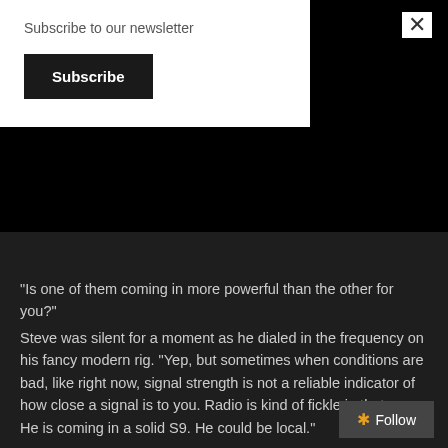Subscribe to our newsletter
Subscribe
"Is one of them coming in more powerful than the other for you?"
Steve was silent for a moment as he dialed in the frequency on his fancy modern rig. “Yep, but sometimes when conditions are bad, like right now, signal strength is not a reliable indicator of how close a signal is to you. Radio is kind of fickle in that way. He is coming in a solid S9. He could be local."
"Do you mean local as in state or city?"
“Either.”
Joshua sighed. “He’s using a bogus call sign. I looked it up and it’s from a silent key.”
"Really? We could turn him in to the FCC, but it would be difficult to find out whom he really is. That whole process could take a while to resolve. His voice sounds funny to me. Like he’s talking through some kind of…"
"What?" Joshua asked.
Follow